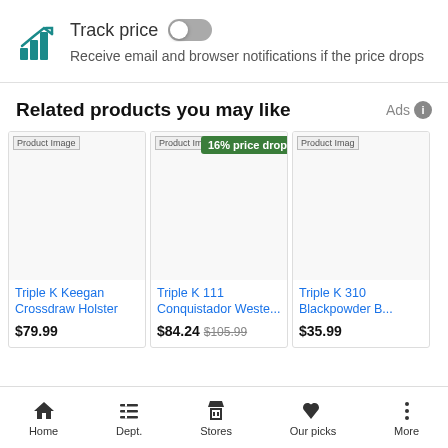[Figure (screenshot): Track price toggle UI element with teal bar chart icon, 'Track price' label and toggle switch in off/grey position]
Receive email and browser notifications if the price drops
Related products you may like
Ads
[Figure (photo): Product image placeholder for Triple K Keegan Crossdraw Holster]
Triple K Keegan Crossdraw Holster
$79.99
[Figure (photo): Product image placeholder for Triple K 111 Conquistador Weste... with 16% price drop badge]
Triple K 111 Conquistador Weste...
$84.24 $105.99
[Figure (photo): Product image placeholder for Triple K 310 Blackpowder B...]
Triple K 310 Blackpowder B...
$35.99
Home  Dept.  Stores  Our picks  More